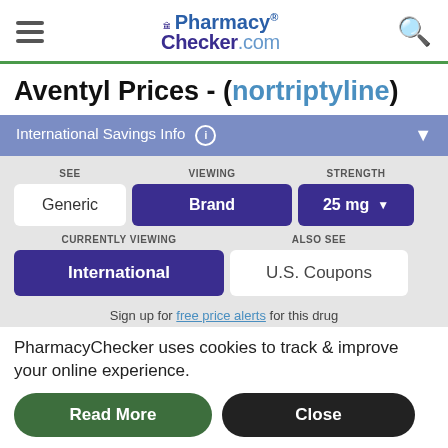[Figure (logo): PharmacyChecker.com logo with hamburger menu and search icon in header]
Aventyl Prices - (nortriptyline)
International Savings Info
SEE Generic | VIEWING Brand | STRENGTH 25 mg
CURRENTLY VIEWING International | ALSO SEE U.S. Coupons
Sign up for free price alerts for this drug
PharmacyChecker uses cookies to track & improve your online experience.
Read More | Close